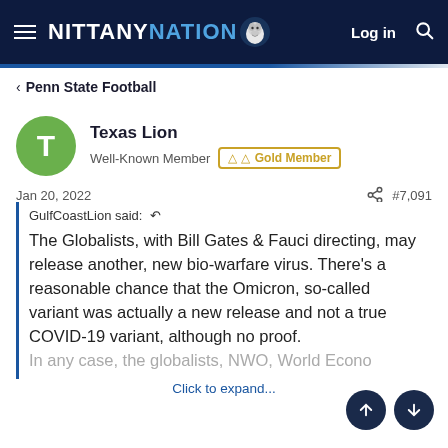NITTANY NATION — Log in
Penn State Football
Texas Lion
Well-Known Member  Gold Member
Jan 20, 2022  #7,091
GulfCoastLion said:
The Globalists, with Bill Gates & Fauci directing, may release another, new bio-warfare virus. There's a reasonable chance that the Omicron, so-called variant was actually a new release and not a true COVID-19 variant, although no proof.
In any case, the globalists, NWO, World Econo...
Click to expand...